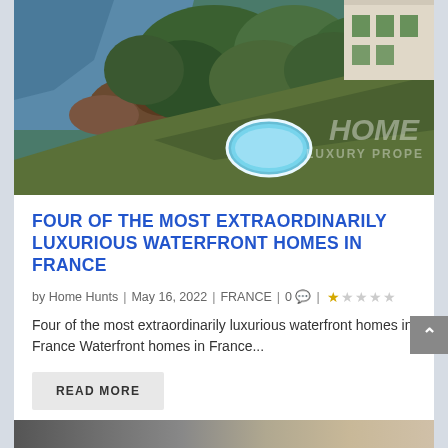[Figure (photo): Aerial view of a luxurious waterfront property in France, showing rocky coastline, dense green trees, a swimming pool, and a white building with green shutters. HOME LUXURY PROPERTIES watermark visible.]
FOUR OF THE MOST EXTRAORDINARILY LUXURIOUS WATERFRONT HOMES IN FRANCE
by Home Hunts | May 16, 2022 | FRANCE | 0 | ★☆☆☆☆
Four of the most extraordinarily luxurious waterfront homes in France Waterfront homes in France...
READ MORE